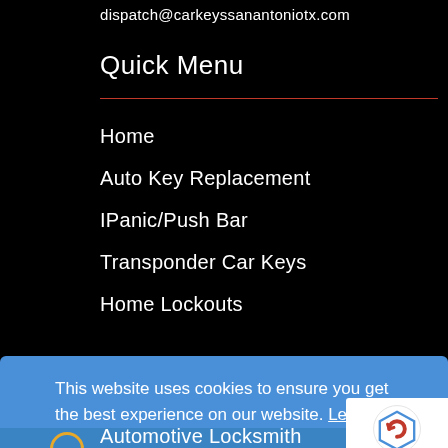dispatch@carkeyssanantoniotx.com
Quick Menu
Home
Auto Key Replacement
IPanic/Push Bar
Transponder Car Keys
Home Lockouts
This website uses cookies to ensure you get the best experience on our website. Learn more
Got it!
Automotive Locksmith